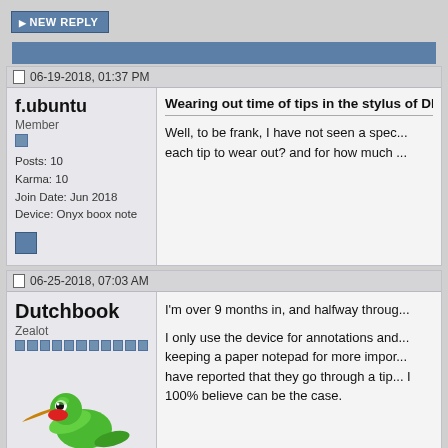[Figure (screenshot): Forum 'NEW REPLY' button, blue with white uppercase text]
[Figure (screenshot): Blue horizontal band/header bar for first forum post]
06-19-2018, 01:37 PM
f.ubuntu
Member
Posts: 10
Karma: 10
Join Date: Jun 2018
Device: Onyx boox note
Wearing out time of tips in the stylus of DPT
Well, to be frank, I have not seen a spec... each tip to wear out? and for how much ...
06-25-2018, 07:03 AM
Dutchbook
Zealot
I'm over 9 months in, and halfway through...
I only use the device for annotations and... keeping a paper notepad for more impor... have reported that they go through a tip... I 100% believe can be the case.
[Figure (illustration): Cartoon hummingbird avatar, green bird with red beak]